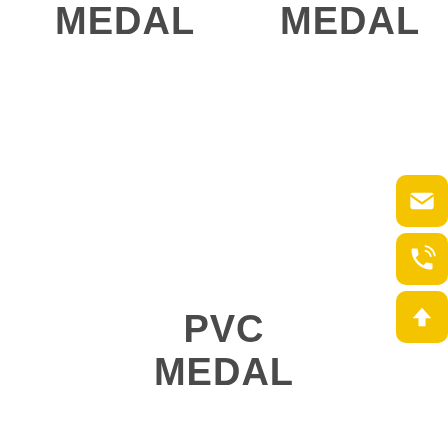MEDAL
MEDAL
[Figure (infographic): Three yellow rounded-square buttons on the right side: email envelope icon, phone with sound waves icon, and upward arrow icon]
PVC
MEDAL